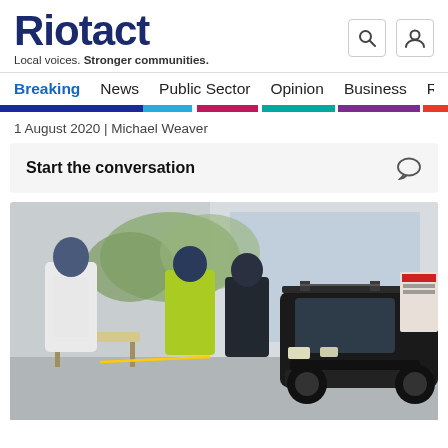Riotact — Local voices. Stronger communities.
Breaking | News | Public Sector | Opinion | Business | R
1 August 2020 | Michael Weaver
Start the conversation
[Figure (photo): Drive-through COVID-19 testing station. A worker in white PPE stands at a table, a worker in a hi-vis yellow vest faces away, a person in dark clothing faces the camera, and a dark SUV (Subaru Forester) pulls up to the testing station. Background shows a building and trees.]